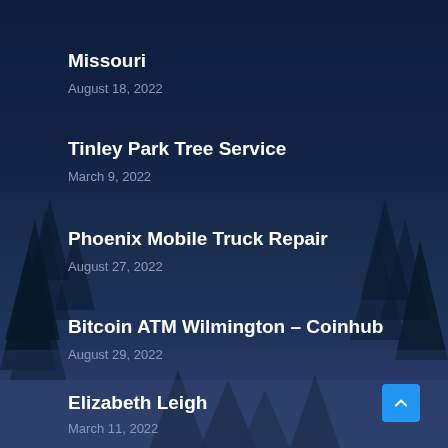Missouri
August 18, 2022
Tinley Park Tree Service
March 9, 2022
Phoenix Mobile Truck Repair
August 27, 2022
Bitcoin ATM Wilmington – Coinhub
August 29, 2022
Elizabeth Leigh
March 11, 2022